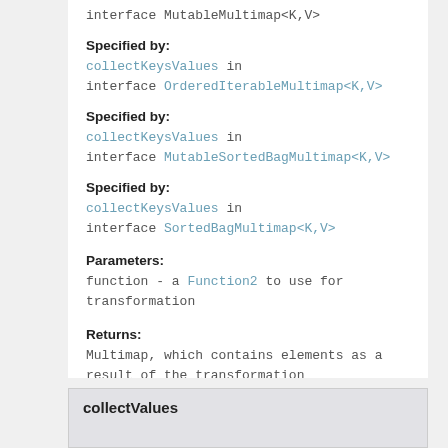interface MutableMultimap<K,V>
Specified by:
collectKeysValues in interface OrderedIterableMultimap<K,V>
Specified by:
collectKeysValues in interface MutableSortedBagMultimap<K,V>
Specified by:
collectKeysValues in interface SortedBagMultimap<K,V>
Parameters:
function - a Function2 to use for transformation
Returns:
Multimap, which contains elements as a result of the transformation
collectValues